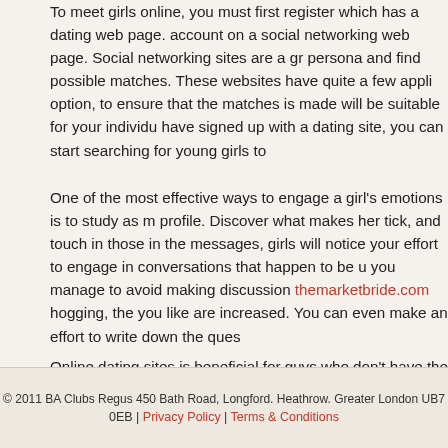To meet girls online, you must first register which has a dating web page. account on a social networking web page. Social networking sites are a gr persona and find possible matches. These websites have quite a few appli option, to ensure that the matches is made will be suitable for your individu have signed up with a dating site, you can start searching for young girls to
One of the most effective ways to engage a girl's emotions is to study as m profile. Discover what makes her tick, and touch in those in the messages, girls will notice your effort to engage in conversations that happen to be u you manage to avoid making discussion themarketbride.com hogging, the you like are increased. You can even make an effort to write down the ques
Online dating sites is beneficial for guys who don't have the natural elegan can easily be attracted by a compelling profile, which may give them great use this facts to spark conversation by simply getting to know more about t desired goals, and single status. Once you have established yourself to be plenty of for you to get to know her better in person.
© 2011 BA Clubs Regus 450 Bath Road, Longford. Heathrow. Greater London UB7 0EB | Privacy Policy | Terms & Conditions